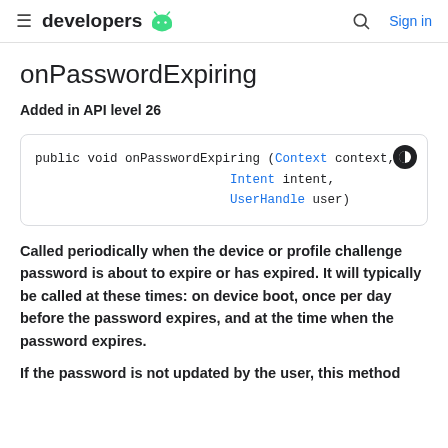developers  Sign in
onPasswordExpiring
Added in API level 26
Called periodically when the device or profile challenge password is about to expire or has expired. It will typically be called at these times: on device boot, once per day before the password expires, and at the time when the password expires.
If the password is not updated by the user, this method